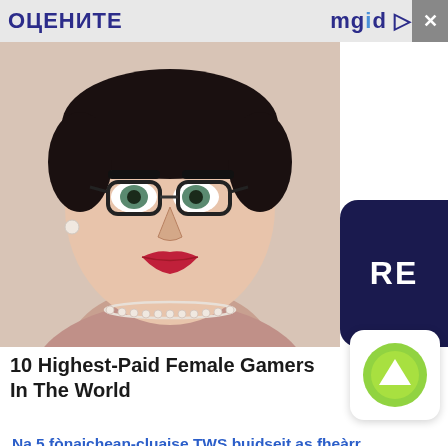ОЦЕНИТЕ   mgid ▷   ✕
[Figure (photo): Close-up portrait photo of a woman with short dark hair, glasses, red lipstick, pearl necklace, wearing a pink/mauve top]
10 Highest-Paid Female Gamers In The World
Na 5 fònaichean-cluaise TWS buidseit as fheàrr
...
A' cur an àite cead-dràibhidh nuair a dh'atharraicheas tu sloinneadh
...
Na duilgheadasan as cumanta le Mercedes W222
...